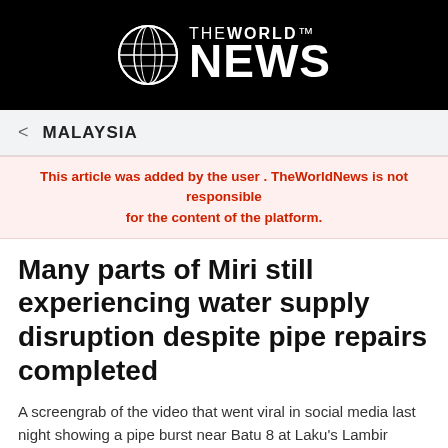[Figure (logo): The World News logo with globe icon and white text on black background]
< MALAYSIA
This article was added by the user . TheWorldNews is not responsible for the content of the platform.
Many parts of Miri still experiencing water supply disruption despite pipe repairs completed
A screengrab of the video that went viral in social media last night showing a pipe burst near Batu 8 at Laku's Lambir Water Treatment Plant. — Screen capture via social media/Borneo Post Online